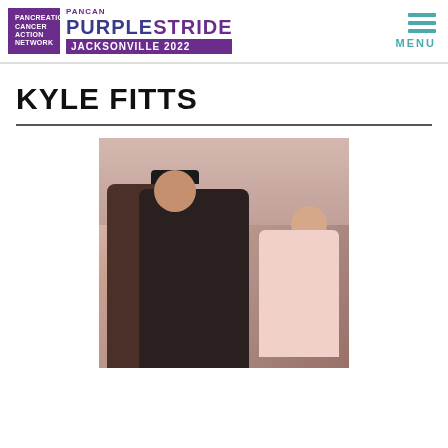Pancreatic Cancer Action Network PurpleStride Jacksonville 2022
KYLE FITTS
[Figure (photo): A man wearing a dark bandana sitting in a leather recliner chair, holding a young toddler girl in a pink outfit who is holding a baby doll. Indoor setting with shelves visible in the background.]